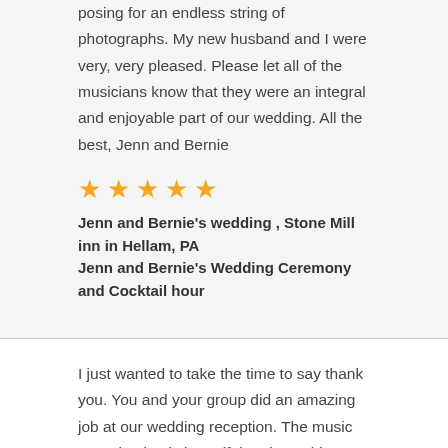posing for an endless string of photographs. My new husband and I were very, very pleased. Please let all of the musicians know that they were an integral and enjoyable part of our wedding. All the best, Jenn and Bernie
★★★★★
Jenn and Bernie's wedding , Stone Mill inn in Hellam, PA
Jenn and Bernie's Wedding Ceremony and Cocktail hour
I just wanted to take the time to say thank you. You and your group did an amazing job at our wedding reception. The music was absolutely beautiful and I could not have asked for anything better. Your professionalism was amazing and we got so many